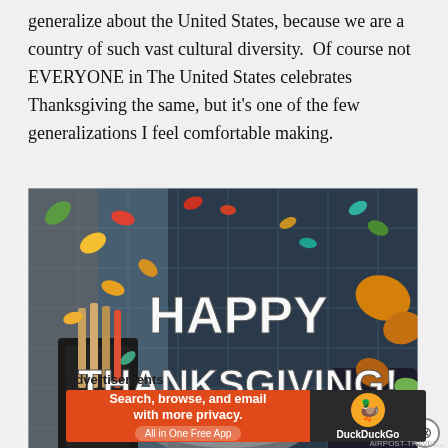generalize about the United States, because we are a country of such vast cultural diversity.  Of course not EVERYONE in The United States celebrates Thanksgiving the same, but it's one of the few generalizations I feel comfortable making.
[Figure (photo): Photo of a Happy Thanksgiving decorative scene with colorful autumn leaves and a sign reading 'HAPPY THANKSGIVING!' on a dark plaid fabric background, with kitchen utensils visible]
Advertisements
[Figure (screenshot): DuckDuckGo advertisement banner: orange section with text 'Search, browse, and email with more privacy. All in One Free App' and dark section with DuckDuckGo logo and duck icon]